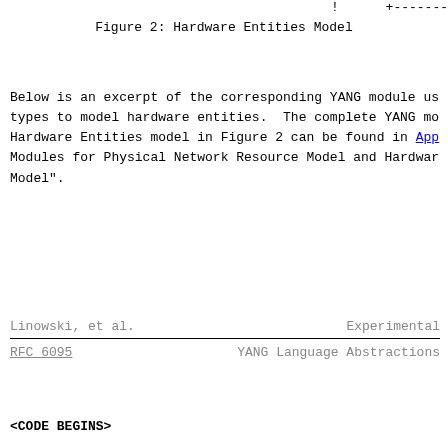[Figure (other): Partial diagram top-right corner showing '+-------' box element]
Figure 2: Hardware Entities Model
Below is an excerpt of the corresponding YANG module using types to model hardware entities.  The complete YANG module for the Hardware Entities model in Figure 2 can be found in Appendix A "YANG Modules for Physical Network Resource Model and Hardware Entities Model".
Linowski, et al.          Experimental
RFC 6095                  YANG Language Abstractions
<CODE BEGINS>